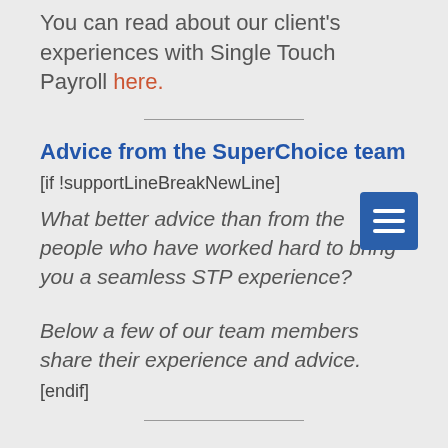You can read about our client's experiences with Single Touch Payroll here.
Advice from the SuperChoice team
[if !supportLineBreakNewLine]
What better advice than from the people who have worked hard to bring you a seamless STP experience?
Below a few of our team members share their experience and advice. [endif]